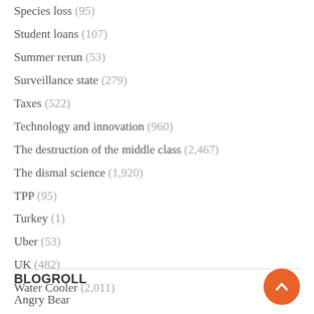Species loss (95)
Student loans (107)
Summer rerun (53)
Surveillance state (279)
Taxes (522)
Technology and innovation (960)
The destruction of the middle class (2,467)
The dismal science (1,920)
TPP (95)
Turkey (1)
Uber (53)
UK (482)
Water Cooler (2,011)
BLOGROLL
Angry Bear